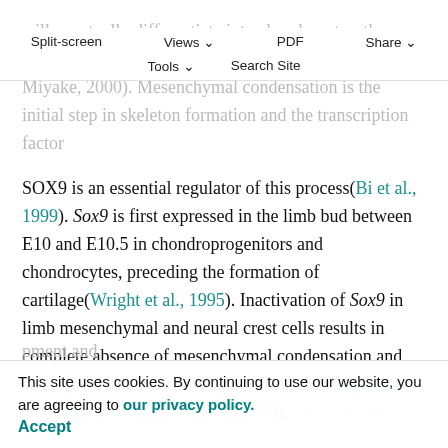Split-screen  Views  PDF  Share  Tools  Search Site
will eventually differentiate into chondrocytes, thus forming cartilage models of the future bones(Hall and Miyake, 2000). Mesenchymal condensation is the initial step in skeleton formation and the transcription factor SOX9 is an essential regulator of this process(Bi et al., 1999). Sox9 is first expressed in the limb bud between E10 and E10.5 in chondroprogenitors and chondrocytes, preceding the formation of cartilage(Wright et al., 1995). Inactivation of Sox9 in limb mesenchymal and neural crest cells results in complete absence of mesenchymal condensation and subsequent failure in cartilage formation (Akiyama et al.,2002; Mori-Akiyama et al.,2003).
This site uses cookies. By continuing to use our website, you are agreeing to our privacy policy. Accept
...pment and ...hat aimed to expose the regulatory role that these two systems were